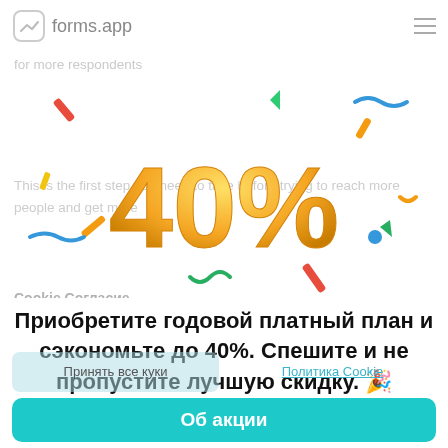forms.app
[Figure (illustration): Promotional image showing '40%' in large golden balloon letters surrounded by colorful confetti streamers and decorative elements on a white background. Background shows faded UI text.]
Приобретите годовой платный план и сэкономьте до 40%. Спешите и не пропустите лучшую скидку. 🎉
Принять все куки
Политика Cookie
Об акции